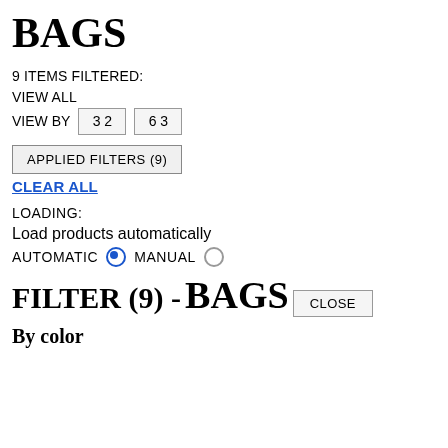BAGS
9 ITEMS FILTERED:
VIEW ALL
VIEW BY  3 2  6 3
APPLIED FILTERS (9)
CLEAR ALL
LOADING:
Load products automatically
AUTOMATIC  ●  MANUAL  ○
FILTER (9)  -
BAGS
CLOSE
By color